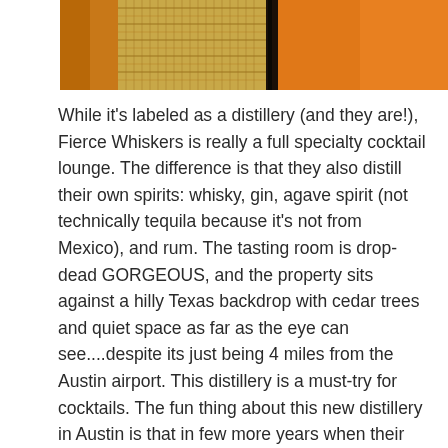[Figure (photo): Close-up photo showing orange leather and woven basket texture with dark seam/zipper detail]
While it's labeled as a distillery (and they are!), Fierce Whiskers is really a full specialty cocktail lounge. The difference is that they also distill their own spirits: whisky, gin, agave spirit (not technically tequila because it's not from Mexico), and rum. The tasting room is drop-dead GORGEOUS, and the property sits against a hilly Texas backdrop with cedar trees and quiet space as far as the eye can see....despite its just being 4 miles from the Austin airport. This distillery is a must-try for cocktails. The fun thing about this new distillery in Austin is that in few more years when their bourbon has aged, it will be a completely different experience.